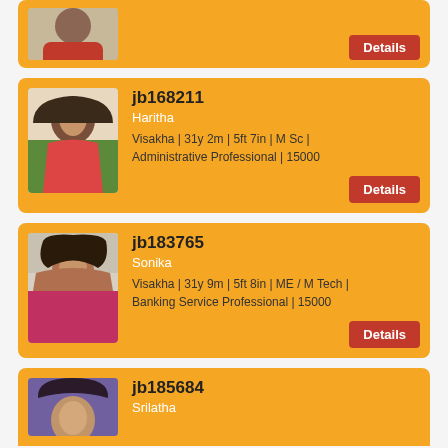[Figure (photo): Partial profile card at top with a woman's photo cropped, with Details button]
[Figure (photo): Profile photo of Haritha - woman in green saree]
jb168211
Haritha
Visakha | 31y 2m | 5ft 7in | M Sc | Administrative Professional | 15000
[Figure (photo): Profile photo of Sonika - woman in pink dress]
jb183765
Sonika
Visakha | 31y 9m | 5ft 8in | ME / M Tech | Banking Service Professional | 15000
[Figure (photo): Profile photo of Srilatha - partial, woman with purple background]
jb185684
Srilatha